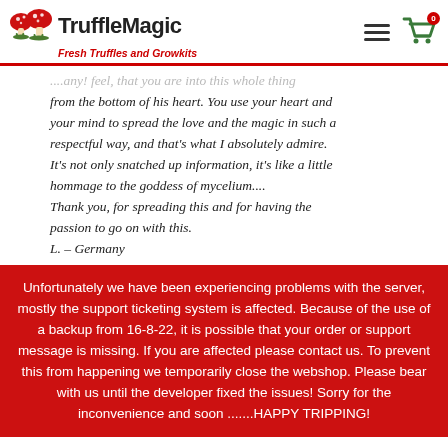TruffleMagic — Fresh Truffles and Growkits
from the bottom of his heart. You use your heart and your mind to spread the love and the magic in such a respectful way, and that's what I absolutely admire. It's not only snatched up information, it's like a little hommage to the goddess of mycelium.... Thank you, for spreading this and for having the passion to go on with this. L. – Germany
Unfortunately we have been experiencing problems with the server, mostly the support ticketing system is affected. Because of the use of a backup from 16-8-22, it is possible that your order or support message is missing. If you are affected please contact us. To prevent this from happening we temporarily close the webshop. Please bear with us until the developer fixed the issues! Sorry for the inconvenience and soon .......HAPPY TRIPPING!